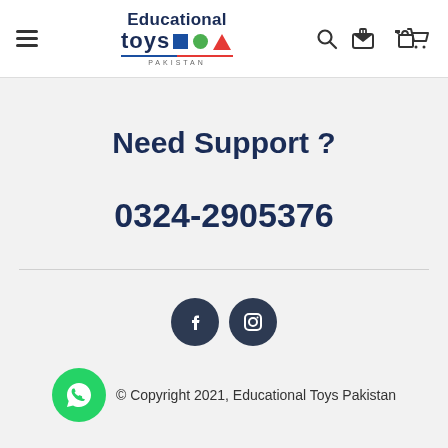Educational Toys Pakistan — navigation header with hamburger menu, logo, search and cart icons
Need Support ?
0324-2905376
[Figure (illustration): Facebook and Instagram social media icon buttons (dark navy circles with white icons)]
[Figure (illustration): WhatsApp green circular button with phone/chat icon]
© Copyright 2021, Educational Toys Pakistan